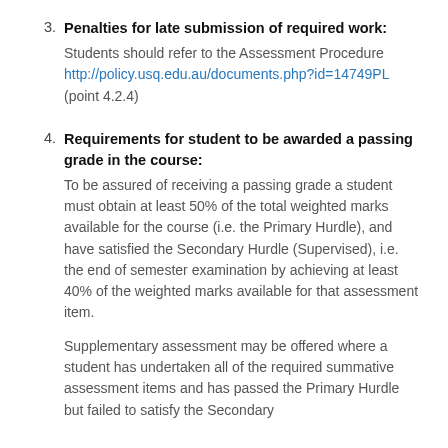3. Penalties for late submission of required work: Students should refer to the Assessment Procedure http://policy.usq.edu.au/documents.php?id=14749PL (point 4.2.4)
4. Requirements for student to be awarded a passing grade in the course: To be assured of receiving a passing grade a student must obtain at least 50% of the total weighted marks available for the course (i.e. the Primary Hurdle), and have satisfied the Secondary Hurdle (Supervised), i.e. the end of semester examination by achieving at least 40% of the weighted marks available for that assessment item. Supplementary assessment may be offered where a student has undertaken all of the required summative assessment items and has passed the Primary Hurdle but failed to satisfy the Secondary